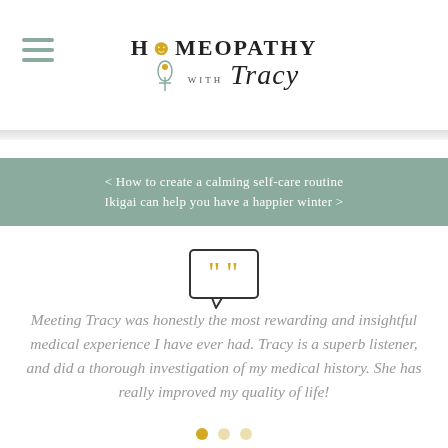[Figure (logo): Homeopathy with Tracy logo with hamburger menu icon on left]
< How to create a calming self-care routine
Ikigai can help you have a happier winter >
[Figure (illustration): Speech bubble icon with golden quotation marks]
Meeting Tracy was honestly the most rewarding and insightful medical experience I have ever had. Tracy is a superb listener, and did a thorough investigation of my medical history. She has really improved my quality of life!